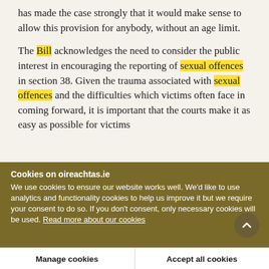has made the case strongly that it would make sense to allow this provision for anybody, without an age limit.
The Bill acknowledges the need to consider the public interest in encouraging the reporting of sexual offences in section 38. Given the trauma associated with sexual offences and the difficulties which victims often face in coming forward, it is important that the courts make it as easy as possible for victims
Cookies on oireachtas.ie
We use cookies to ensure our website works well. We'd like to use analytics and functionality cookies to help us improve it but we require your consent to do so. If you don't consent, only necessary cookies will be used. Read more about our cookies
Manage cookies
Accept all cookies